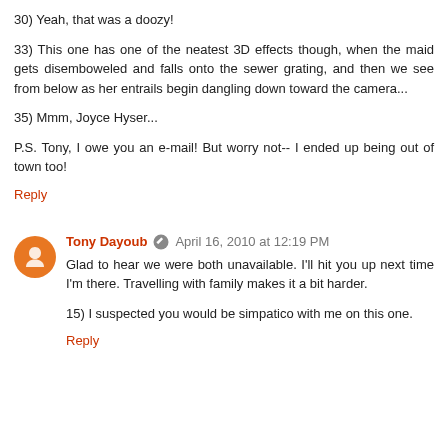30) Yeah, that was a doozy!
33) This one has one of the neatest 3D effects though, when the maid gets disemboweled and falls onto the sewer grating, and then we see from below as her entrails begin dangling down toward the camera...
35) Mmm, Joyce Hyser...
P.S. Tony, I owe you an e-mail! But worry not-- I ended up being out of town too!
Reply
Tony Dayoub  April 16, 2010 at 12:19 PM
Glad to hear we were both unavailable. I'll hit you up next time I'm there. Travelling with family makes it a bit harder.
15) I suspected you would be simpatico with me on this one.
Reply